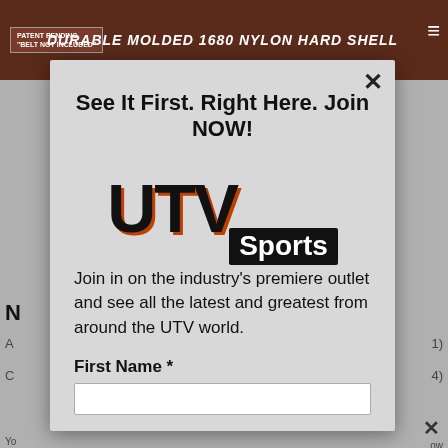[Figure (screenshot): Website screenshot showing a dark red/brown banner at top with 'PATENT PENDING' label and 'DURABLE MOLDED 1680 NYLON HARD SHELL' text, with hamburger menu icon]
See It First. Right Here. Join NOW!
[Figure (logo): UTV Sports logo — large bold black 'UTV' letters with orange/red shadow effect, and 'Sports' in white text on black background]
Join in on the industry's premiere outlet and see all the latest and greatest from around the UTV world.
First Name *